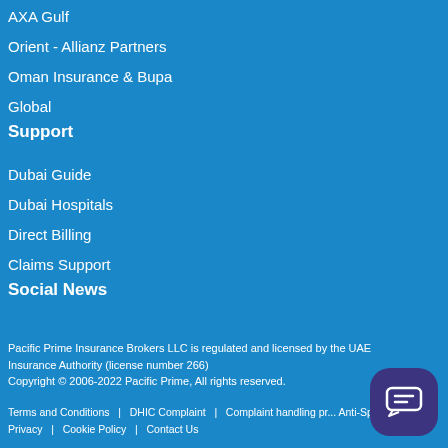AXA Gulf
Orient - Allianz Partners
Oman Insurance & Bupa
Global
Support
Dubai Guide
Dubai Hospitals
Direct Billing
Claims Support
Social News
Pacific Prime Insurance Brokers LLC is regulated and licensed by the UAE Insurance Authority (license number 266)
Copyright © 2006-2022 Pacific Prime, All rights reserved.
Terms and Conditions  |  DHIC Complaint  |  Complaint handling pro...  Anti-Spam Policy  |  Privacy  |  Cookie Policy  |  Contact Us